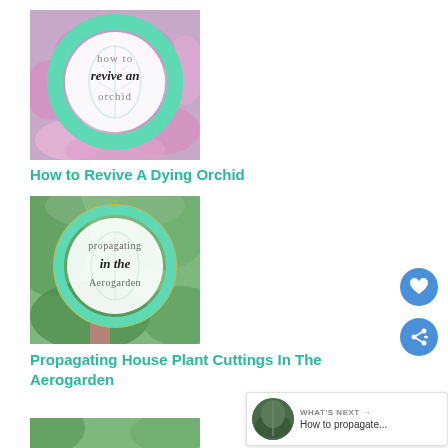[Figure (illustration): Thumbnail image for 'How to Revive An Orchid' - pink orchid flowers in background with circular mint green ring badge containing text 'how to revive an orchid']
How to Revive A Dying Orchid
[Figure (illustration): Thumbnail image for 'Propagating in the Aerogarden' - green plant leaves in background with circular gold/mint ring badge containing text 'propagating in the Aerogarden']
Propagating House Plant Cuttings In The Aerogarden
[Figure (illustration): Partial thumbnail image at bottom - green plants with mint green ring badge, partially visible]